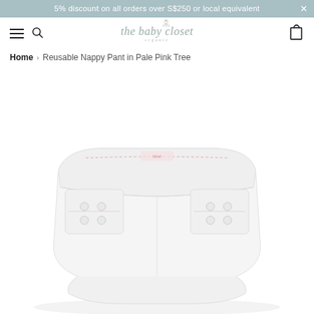5% discount on all orders over S$250 or local equivalent ×
[Figure (logo): The Baby Closet Organic logo with decorative script font and small botanical illustration]
Home > Reusable Nappy Pant in Pale Pink Tree
[Figure (photo): Close-up photo of a white reusable nappy pant with snap buttons and pink stitching details, viewed from above/front showing the waistband and snap closures]